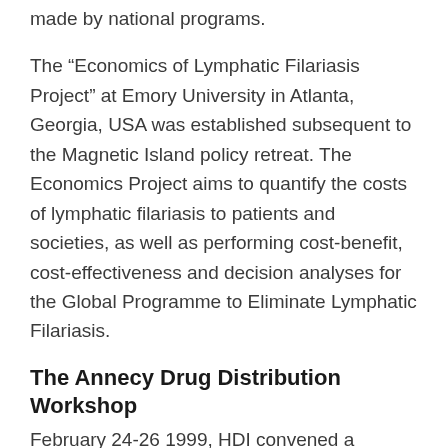made by national programs.
The “Economics of Lymphatic Filariasis Project” at Emory University in Atlanta, Georgia, USA was established subsequent to the Magnetic Island policy retreat. The Economics Project aims to quantify the costs of lymphatic filariasis to patients and societies, as well as performing cost-benefit, cost-effectiveness and decision analyses for the Global Programme to Eliminate Lymphatic Filariasis.
The Annecy Drug Distribution Workshop
February 24-26 1999, HDI convened a workshop on “Effective and Efficient Drug Distribution for the Elimination of Lymphatic Filariasis”. Held at the conference center of Fondation Meriuex, a WHO Collaborating Center in Annecy, France, an